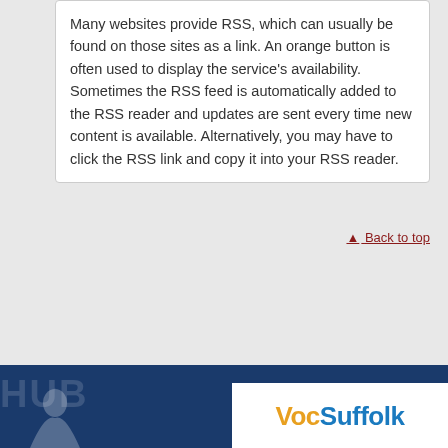Many websites provide RSS, which can usually be found on those sites as a link. An orange button is often used to display the service's availability. Sometimes the RSS feed is automatically added to the RSS reader and updates are sent every time new content is available. Alternatively, you may have to click the RSS link and copy it into your RSS reader.
▲ Back to top
[Figure (logo): VocSuffolk logo — 'Voc' in gold/orange and 'Suffolk' in blue, displayed in a white rectangular box in the footer]